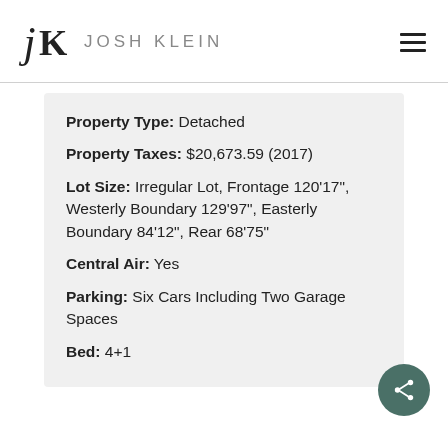JK JOSH KLEIN
Property Type: Detached
Property Taxes: $20,673.59 (2017)
Lot Size: Irregular Lot, Frontage 120'17", Westerly Boundary 129'97", Easterly Boundary 84'12", Rear 68'75"
Central Air: Yes
Parking: Six Cars Including Two Garage Spaces
Bed: 4+1